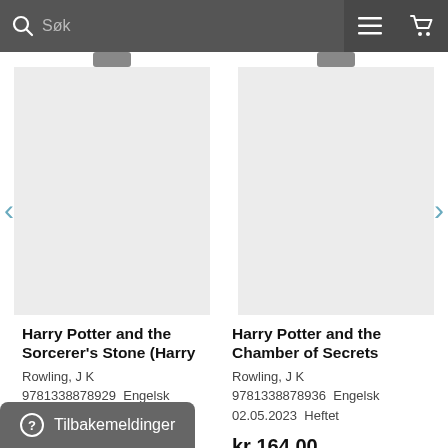Søk
[Figure (screenshot): Book cover placeholder for Harry Potter and the Sorcerer's Stone]
Harry Potter and the Sorcerer's Stone (Harry
Rowling, J K
9781338878929  Engelsk
02.05.2023  Heftet
kr 164,00
[Figure (screenshot): Book cover placeholder for Harry Potter and the Chamber of Secrets]
Harry Potter and the Chamber of Secrets
Rowling, J K
9781338878936  Engelsk
02.05.2023  Heftet
kr 164,00
Tilbakemeldinger